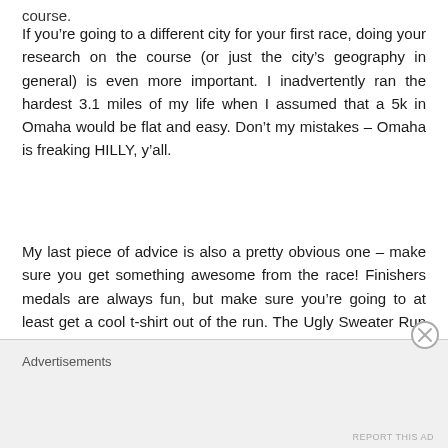course.
If you're going to a different city for your first race, doing your research on the course (or just the city's geography in general) is even more important. I inadvertently ran the hardest 3.1 miles of my life when I assumed that a 5k in Omaha would be flat and easy. Don't my mistakes – Omaha is freaking HILLY, y'all.
My last piece of advice is also a pretty obvious one – make sure you get something awesome from the race! Finishers medals are always fun, but make sure you're going to at least get a cool t-shirt out of the run. The Ugly Sweater Run gives you an awesome beanie, plus
Advertisements